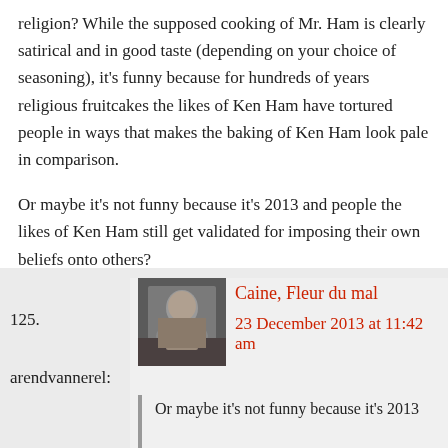religion? While the supposed cooking of Mr. Ham is clearly satirical and in good taste (depending on your choice of seasoning), it’s funny because for hundreds of years religious fruitcakes the likes of Ken Ham have tortured people in ways that makes the baking of Ken Ham look pale in comparison.
Or maybe it’s not funny because it’s 2013 and people the likes of Ken Ham still get validated for imposing their own beliefs onto others?
125.
Caine, Fleur du mal
23 December 2013 at 11:42 am
arendvannerel:
Or maybe it’s not funny because it’s 2013